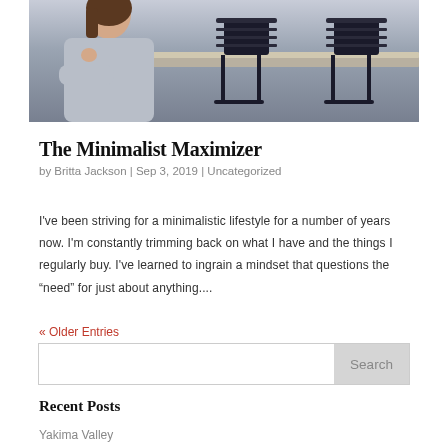[Figure (photo): Person in light gray sweater sitting at a counter or bar, with dark wooden bar stools and a wooden counter/bar top in the background. Scene appears to be in a cafe or restaurant setting.]
The Minimalist Maximizer
by Britta Jackson | Sep 3, 2019 | Uncategorized
I've been striving for a minimalistic lifestyle for a number of years now. I'm constantly trimming back on what I have and the things I regularly buy. I've learned to ingrain a mindset that questions the “need” for just about anything....
« Older Entries
Search
Recent Posts
Yakima Valley